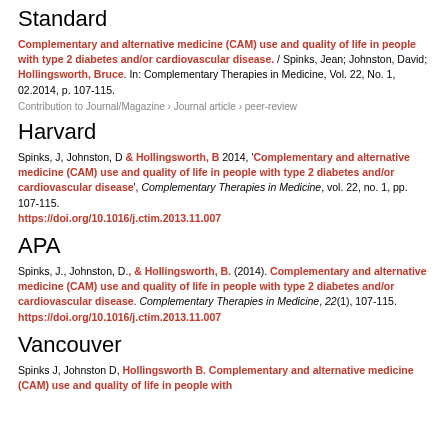Standard
Complementary and alternative medicine (CAM) use and quality of life in people with type 2 diabetes and/or cardiovascular disease. / Spinks, Jean; Johnston, David; Hollingsworth, Bruce. In: Complementary Therapies in Medicine, Vol. 22, No. 1, 02.2014, p. 107-115.
Contribution to Journal/Magazine › Journal article › peer-review
Harvard
Spinks, J, Johnston, D & Hollingsworth, B 2014, 'Complementary and alternative medicine (CAM) use and quality of life in people with type 2 diabetes and/or cardiovascular disease', Complementary Therapies in Medicine, vol. 22, no. 1, pp. 107-115. https://doi.org/10.1016/j.ctim.2013.11.007
APA
Spinks, J., Johnston, D., & Hollingsworth, B. (2014). Complementary and alternative medicine (CAM) use and quality of life in people with type 2 diabetes and/or cardiovascular disease. Complementary Therapies in Medicine, 22(1), 107-115. https://doi.org/10.1016/j.ctim.2013.11.007
Vancouver
Spinks J, Johnston D, Hollingsworth B. Complementary and alternative medicine (CAM) use and quality of life in people with